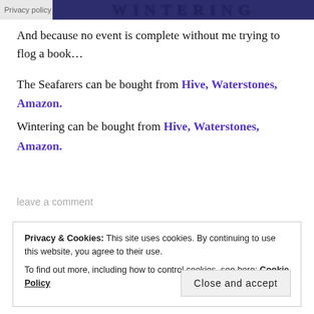[Figure (screenshot): Header banner with 'Privacy policy' label on left and dark blue decorative text banner on right]
And because no event is complete without me trying to flog a book…
The Seafarers can be bought from Hive, Waterstones, Amazon.
Wintering can be bought from Hive, Waterstones, Amazon.
leave a comment
Privacy & Cookies: This site uses cookies. By continuing to use this website, you agree to their use. To find out more, including how to control cookies, see here: Cookie Policy
Close and accept